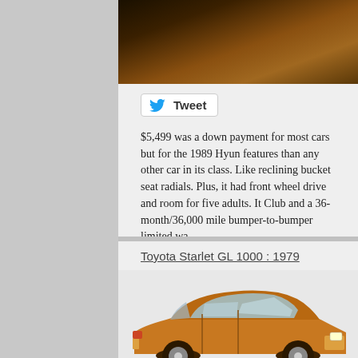[Figure (photo): Top portion of a car photo with warm orange/brown tones, showing a moving car]
[Figure (screenshot): Tweet button with Twitter bird icon]
$5,499 was a down payment for most cars but for the 1989 Hyun features than any other car in its class. Like reclining bucket seat radials. Plus, it had front wheel drive and room for five adults. It Club and a 36-month/36,000 mile bumper-to-bumper limited wa
Published on March 30, 2014 9:59 am.
Filed under: 3-Door Hatchbacks Tags: 1980s, Hyundai
Toyota Starlet GL 1000 : 1979
[Figure (photo): Orange/gold Toyota Starlet GL 1000 from 1979, side profile view showing the hatchback body style]